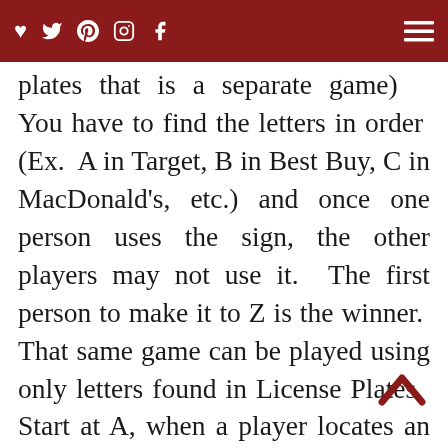Navigation bar with social icons and hamburger menu
plates  that  is  a  separate  game)    You have to find the letters in order  (Ex.  A in Target, B in Best Buy, C in MacDonald’s, etc.) and once one person uses the sign, the other players may not use it.  The first person to make it to Z is the winner.  That same game can be played using only letters found in License Plates.  Start at A, when a player locates an A in a license plate they move on to look for B. The first person to make it to Z is the winner.   To  make  these  games cooperative instead of competitive  have